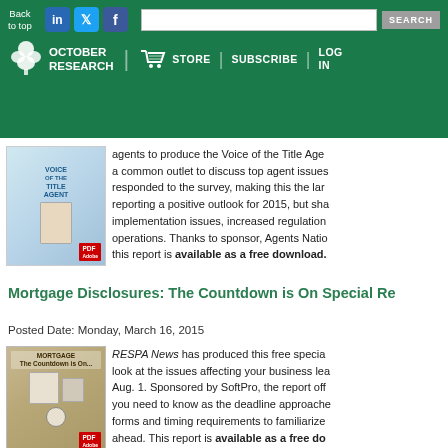October Research | Back to top | STORE | SUBSCRIBE | LOG IN
agents to produce the Voice of the Title Agent a common outlet to discuss top agent issues responded to the survey, making this the largest reporting a positive outlook for 2015, but sharing implementation issues, increased regulation operations. Thanks to sponsor, Agents National, this report is available as a free download.
Mortgage Disclosures: The Countdown is On Special Re
Posted Date: Monday, March 16, 2015
RESPA News has produced this free special look at the issues affecting your business leading Aug. 1. Sponsored by SoftPro, the report offers what you need to know as the deadline approaches, forms and timing requirements to familiarize yourself ahead. This report is available as a free download.